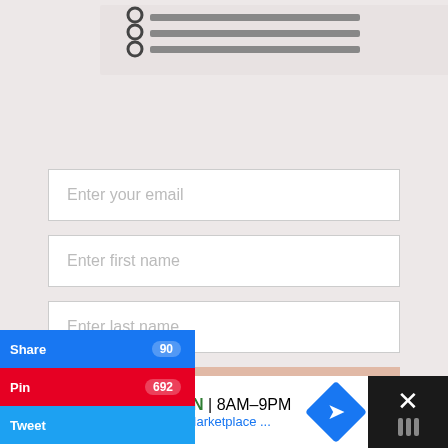[Figure (illustration): Partial view of a notebook/planner with spiral binding visible at top left, on a light pinkish-gray background]
Enter your email
Enter first name
Enter last name
SIGN UP
powered by MailMunch
Share 90
Pin 692
Tweet
RATE ALL YEAR PLANNER
Ashburn  OPEN  8AM–9PM  44175 Ashbrook Marketplace ...